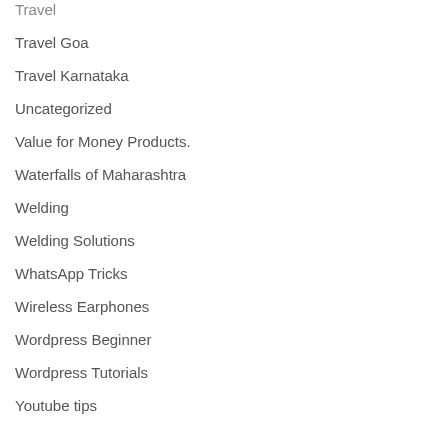Travel
Travel Goa
Travel Karnataka
Uncategorized
Value for Money Products.
Waterfalls of Maharashtra
Welding
Welding Solutions
WhatsApp Tricks
Wireless Earphones
Wordpress Beginner
Wordpress Tutorials
Youtube tips